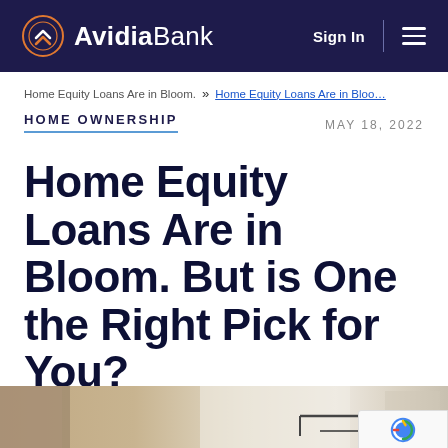Avidia Bank — Sign In | Menu
Home Equity Loans Are in Bloom. » Home Equity Loans Are in Bloo...
HOME OWNERSHIP
MAY 18, 2022
Home Equity Loans Are in Bloom. But is One the Right Pick for You?
[Figure (photo): Interior home photo showing bathroom fixtures, towel rack, used as article hero image]